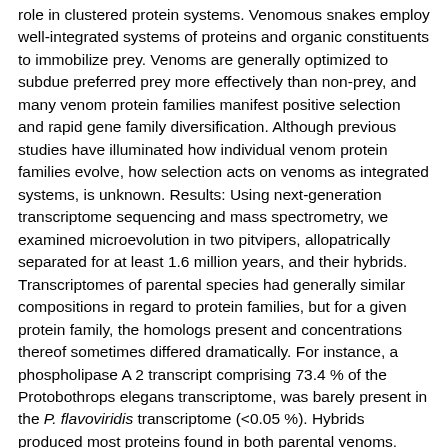role in clustered protein systems. Venomous snakes employ well-integrated systems of proteins and organic constituents to immobilize prey. Venoms are generally optimized to subdue preferred prey more effectively than non-prey, and many venom protein families manifest positive selection and rapid gene family diversification. Although previous studies have illuminated how individual venom protein families evolve, how selection acts on venoms as integrated systems, is unknown. Results: Using next-generation transcriptome sequencing and mass spectrometry, we examined microevolution in two pitvipers, allopatrically separated for at least 1.6 million years, and their hybrids. Transcriptomes of parental species had generally similar compositions in regard to protein families, but for a given protein family, the homologs present and concentrations thereof sometimes differed dramatically. For instance, a phospholipase A 2 transcript comprising 73.4 % of the Protobothrops elegans transcriptome, was barely present in the P. flavoviridis transcriptome (<0.05 %). Hybrids produced most proteins found in both parental venoms. Protein evolutionary rates were positively correlated with